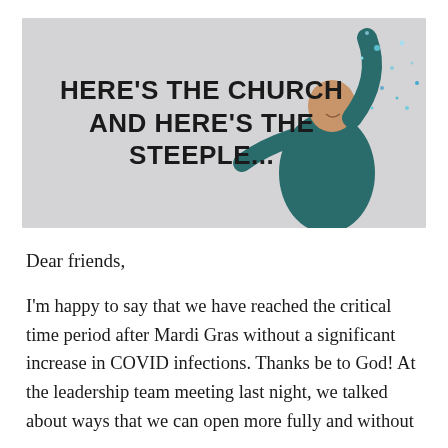[Figure (illustration): Banner image with bold text 'HERE'S THE CHURCH AND HERE'S THE STEEPLE...' on a light grey background with a woman in a teal jacket celebrating with arms raised and confetti around her on the right side.]
Dear friends,
I'm happy to say that we have reached the critical time period after Mardi Gras without a significant increase in COVID infections. Thanks be to God! At the leadership team meeting last night, we talked about ways that we can open more fully and without